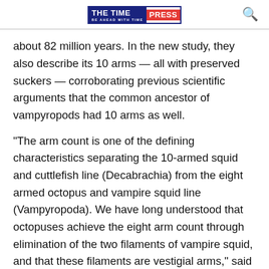THE TIME PRESS — BE AHEAD WITH TIME
about 82 million years. In the new study, they also describe its 10 arms — all with preserved suckers — corroborating previous scientific arguments that the common ancestor of vampyropods had 10 arms as well.
“The arm count is one of the defining characteristics separating the 10-armed squid and cuttlefish line (Decabrachia) from the eight armed octopus and vampire squid line (Vampyropoda). We have long understood that octopuses achieve the eight arm count through elimination of the two filaments of vampire squid, and that these filaments are vestigial arms,” said Whalen. “However, all previously reported fossil vampyropods preserving the appendages only have 8 arms, so this fossil is arguably the first confirmation of the idea that all cephalopods